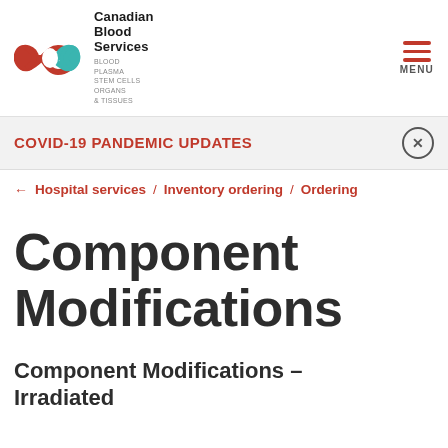[Figure (logo): Canadian Blood Services logo with infinity symbol in red and teal, organization name and tagline: BLOOD PLASMA STEM CELLS ORGANS & TISSUES]
COVID-19 PANDEMIC UPDATES
← Hospital services / Inventory ordering / Ordering
Component Modifications
Component Modifications – Irradiated